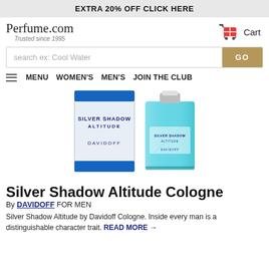EXTRA 20% OFF CLICK HERE
[Figure (logo): Perfume.com logo with tagline 'Trusted since 1995' and shopping cart icon]
[Figure (screenshot): Search bar with placeholder 'search ex: Cool Water' and gold GO button]
[Figure (screenshot): Navigation bar with hamburger menu, MENU, WOMEN'S, MEN'S, JOIN THE CLUB links]
[Figure (photo): Silver Shadow Altitude cologne by Davidoff - product box and blue glass bottle]
Silver Shadow Altitude Cologne
By DAVIDOFF FOR MEN
Silver Shadow Altitude by Davidoff Cologne. Inside every man is a distinguishable character trait. READ MORE →